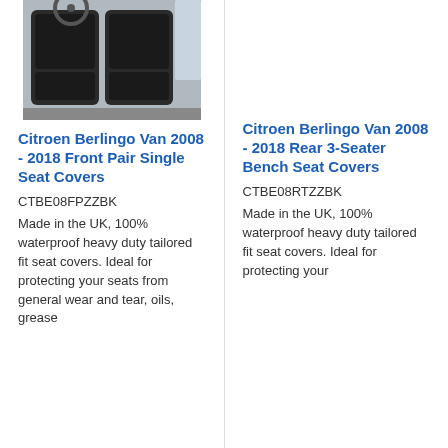[Figure (photo): Photo of black seat covers installed in a vehicle's front seats]
Citroen Berlingo Van 2008 - 2018 Front Pair Single Seat Covers
CTBE08FPZZBK
Made in the UK, 100% waterproof heavy duty tailored fit seat covers. Ideal for protecting your seats from general wear and tear, oils, grease
Citroen Berlingo Van 2008 - 2018 Rear 3-Seater Bench Seat Covers
CTBE08RTZZBK
Made in the UK, 100% waterproof heavy duty tailored fit seat covers. Ideal for protecting your